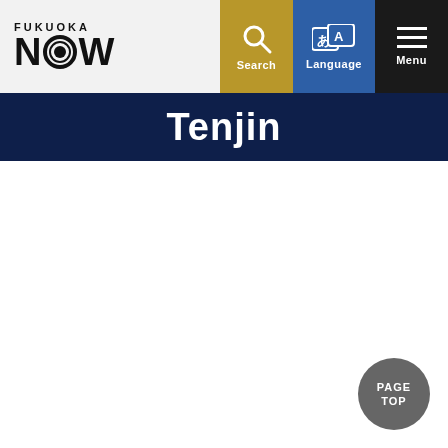FUKUOKA NOW — Navigation header with Search, Language, and Menu buttons
Tenjin
[Figure (other): PAGE TOP button — circular dark grey button in bottom right corner with text PAGE TOP]
PAGE TOP